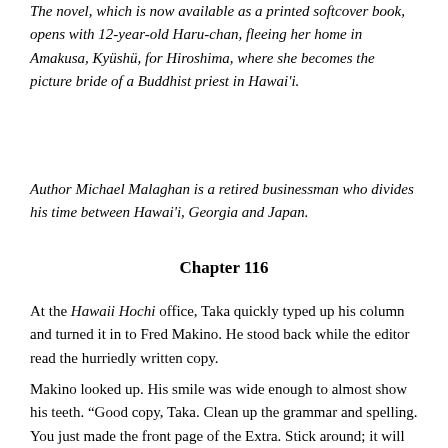The novel, which is now available as a printed softcover book, opens with 12-year-old Haru-chan, fleeing her home in Amakusa, Kyüshü, for Hiroshima, where she becomes the picture bride of a Buddhist priest in Hawai'i.
Author Michael Malaghan is a retired businessman who divides his time between Hawai'i, Georgia and Japan.
Chapter 116
At the Hawaii Hochi office, Taka quickly typed up his column and turned it in to Fred Makino. He stood back while the editor read the hurriedly written copy.
Makino looked up. His smile was wide enough to almost show his teeth. “Good copy, Taka. Clean up the grammar and spelling. You just made the front page of the Extra. Stick around; it will be off the presses in an hour.”